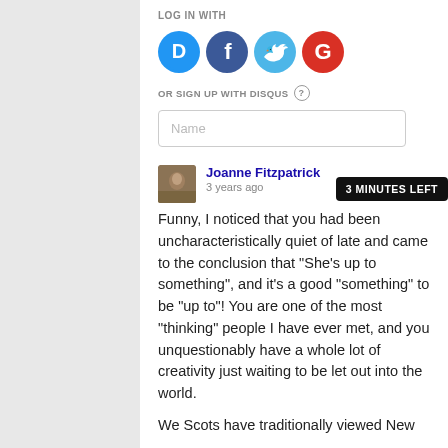LOG IN WITH
[Figure (infographic): Four social login buttons: Disqus (blue chat bubble with D), Facebook (dark blue circle with f), Twitter (light blue circle with bird), Google (red circle with G)]
OR SIGN UP WITH DISQUS ?
Name
Joanne Fitzpatrick
3 years ago
3 MINUTES LEFT
Funny, I noticed that you had been uncharacteristically quiet of late and came to the conclusion that "She's up to something", and it's a good "something" to be "up to"! You are one of the most "thinking" people I have ever met, and you unquestionably have a whole lot of creativity just waiting to be let out into the world.
We Scots have traditionally viewed New